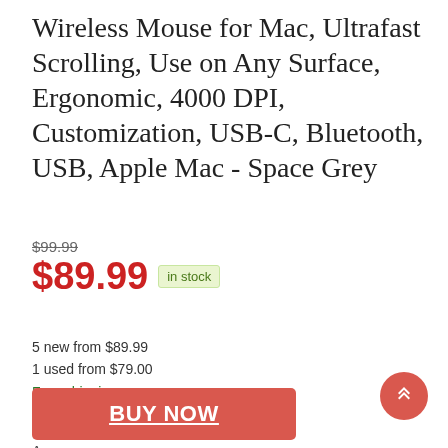Wireless Mouse for Mac, Ultrafast Scrolling, Use on Any Surface, Ergonomic, 4000 DPI, Customization, USB-C, Bluetooth, USB, Apple Mac - Space Grey
$99.99 (strikethrough original price)
$89.99 in stock
5 new from $89.99
1 used from $79.00
Free shipping
BUY NOW
Amazon.com